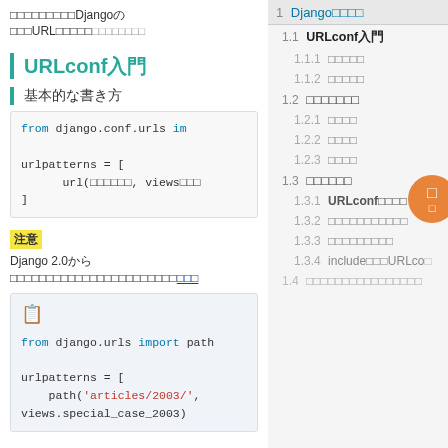DjangoのURLconf
URLconf入門
基本的な書き方
[Figure (screenshot): Code block showing 'from django.conf.urls im...' and 'urlpatterns = [ url(パターン, viewsの... ]']
注意
Django 2.0からはurlではなくpathを使うように変わった
[Figure (screenshot): Code block with copy icon showing: from django.urls import path, urlpatterns = [ path('articles/2003/', views.special_case_2003)]
1  Djangoの基礎
1.1  URLconf入門
1.1.1  基本的な書き方
1.1.2  注意事項
1.2  ビューの書き方
1.2.1  関数
1.2.2  クラス
1.2.3  テスト
1.3  設定ファイル
1.3.1  URLconfの設定
1.3.2  データベースの設定
1.3.3  テンプレートの設定
1.3.4  includeでURLconfを
1.4  アプリケーションの作成方法